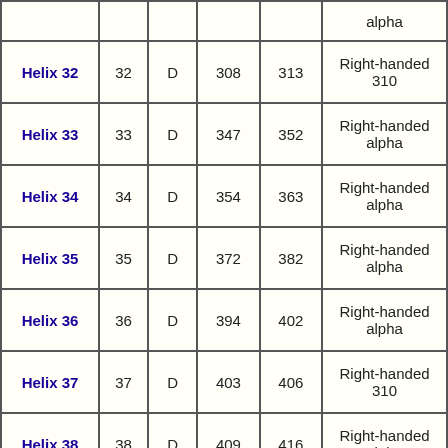|  |  |  |  |  | alpha |
| Helix 32 | 32 | D | 308 | 313 | Right-handed 310 |
| Helix 33 | 33 | D | 347 | 352 | Right-handed alpha |
| Helix 34 | 34 | D | 354 | 363 | Right-handed alpha |
| Helix 35 | 35 | D | 372 | 382 | Right-handed alpha |
| Helix 36 | 36 | D | 394 | 402 | Right-handed alpha |
| Helix 37 | 37 | D | 403 | 406 | Right-handed 310 |
| Helix 38 | 38 | D | 409 | 416 | Right-handed alpha |
|  |  |  |  |  | Right- |